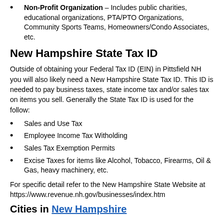Non-Profit Organization – Includes public charities, educational organizations, PTA/PTO Organizations, Community Sports Teams, Homeowners/Condo Associates, etc.
New Hampshire State Tax ID
Outside of obtaining your Federal Tax ID (EIN) in Pittsfield NH you will also likely need a New Hampshire State Tax ID. This ID is needed to pay business taxes, state income tax and/or sales tax on items you sell. Generally the State Tax ID is used for the follow:
Sales and Use Tax
Employee Income Tax Witholding
Sales Tax Exemption Permits
Excise Taxes for items like Alcohol, Tobacco, Firearms, Oil & Gas, heavy machinery, etc.
For specific detail refer to the New Hampshire State Website at https://www.revenue.nh.gov/businesses/index.htm
Cities in New Hampshire